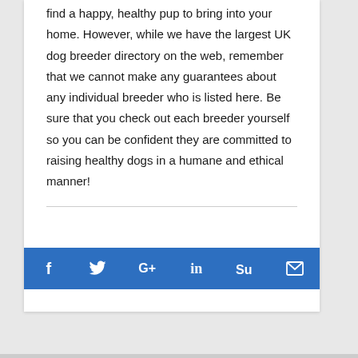It's our most sincere hope that this site helps you find a happy, healthy pup to bring into your home. However, while we have the largest UK dog breeder directory on the web, remember that we cannot make any guarantees about any individual breeder who is listed here. Be sure that you check out each breeder yourself so you can be confident they are committed to raising healthy dogs in a humane and ethical manner!
[Figure (infographic): Social share bar with icons for Facebook (f), Twitter (bird), Google+ (G+), LinkedIn (in), StumbleUpon (Su), and Email (envelope) on a blue background]